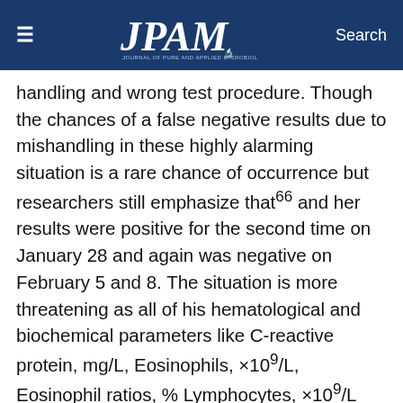JPAM | Search
handling and wrong test procedure. Though the chances of a false negative results due to mishandling in these highly alarming situation is a rare chance of occurrence but researchers still emphasize that⁦ and her results were positive for the second time on January 28 and again was negative on February 5 and 8. The situation is more threatening as all of his hematological and biochemical parameters like C-reactive protein, mg/L, Eosinophils, ×10⁹/L, Eosinophil ratios, % Lymphocytes, ×10⁹/L Lymphocyte ratios, % 20-50 Neutrophils, ×10⁹/L Neutrophil ratios, % 40-75 White blood cell count, ×10⁹/L were within normal reference range showing no indications of disease occurrence but the members without any source of